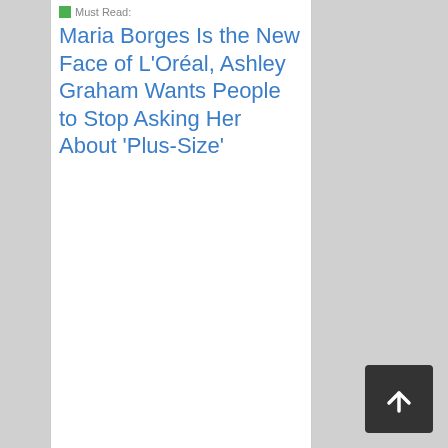Must Read: Maria Borges Is the New Face of L'Oréal, Ashley Graham Wants People to Stop Asking Her About 'Plus-Size'
[Figure (other): Dark rounded square button with white upward arrow icon for scrolling to top of page]